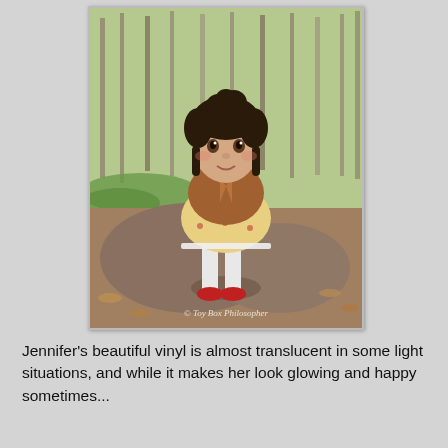[Figure (photo): A doll with dark curly hair, wearing a brown jacket over a floral yellow dress with lace trim, white stockings, and red shoes. The doll is seated on a rock in an outdoor wooded setting with bare trees and green ground cover. Watermark reads '© Toy Box Philosopher'.]
Jennifer's beautiful vinyl is almost translucent in some light situations, and while it makes her look glowing and happy sometimes...